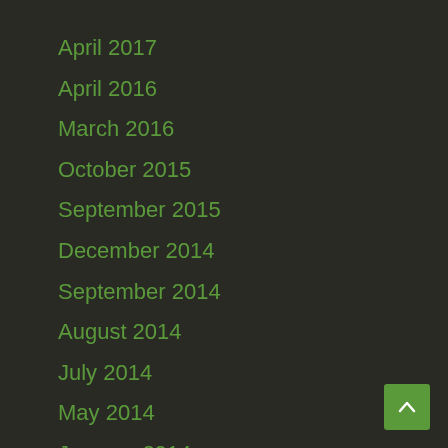April 2017
April 2016
March 2016
October 2015
September 2015
December 2014
September 2014
August 2014
July 2014
May 2014
January 2014
November 2013